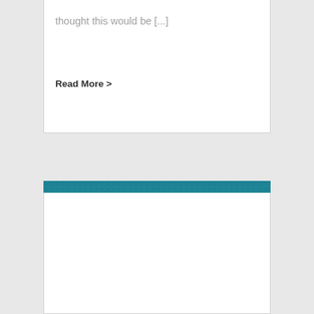thought this would be [...]
Read More >
[Figure (photo): Scrabble tiles spelling 'HUMAN' and 'RESOURCES' on a teal/blue textured background, with a decorative bow shape between the two words]
Key HR Documents